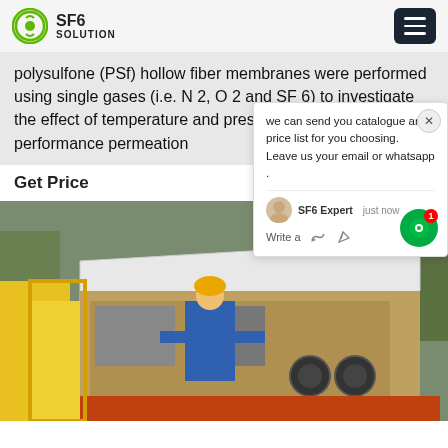SF6 SOLUTION
polysulfone (PSf) hollow fiber membranes were performed using single gases (i.e. N 2, O 2 and SF 6) to investigate the effect of temperature and pressure on separation performance permeation
Get Price
[Figure (photo): A worker in a blue jacket and yellow hard hat operates equipment inside a yellow industrial vehicle with an open white roof panel, likely SF6 gas handling equipment.]